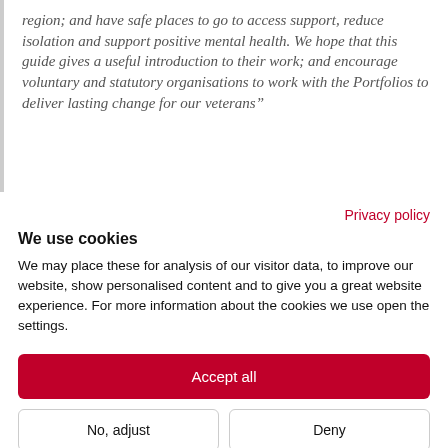region; and have safe places to go to access support, reduce isolation and support positive mental health. We hope that this guide gives a useful introduction to their work; and encourage voluntary and statutory organisations to work with the Portfolios to deliver lasting change for our veterans”
Privacy policy
We use cookies
We may place these for analysis of our visitor data, to improve our website, show personalised content and to give you a great website experience. For more information about the cookies we use open the settings.
Accept all
No, adjust
Deny